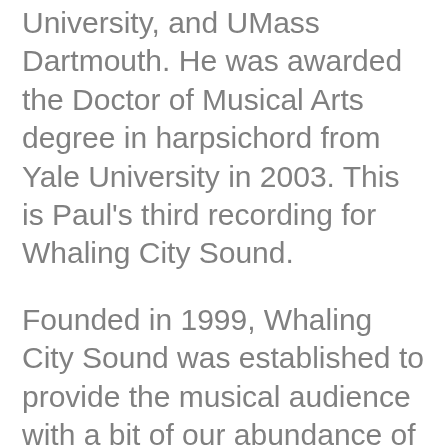University, and UMass Dartmouth. He was awarded the Doctor of Musical Arts degree in harpsichord from Yale University in 2003. This is Paul's third recording for Whaling City Sound.
Founded in 1999, Whaling City Sound was established to provide the musical audience with a bit of our abundance of outstanding musicians. We strive for innovative musicianship and impeccable recording quality; a platform for our artists to be heard and enjoyed by a wider audience.